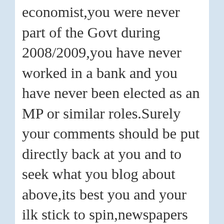economist,you were never part of the Govt during 2008/2009,you have never worked in a bank and you have never been elected as an MP or similar roles.Surely your comments should be put directly back at you and to seek what you blog about above,its best you and your ilk stick to spin,newspapers and books.
REPLY